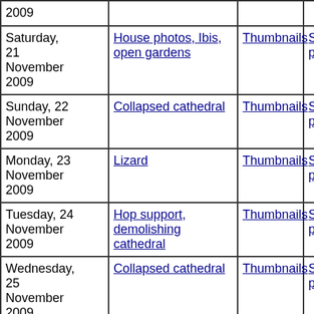| Date | Description | Thumbnails | Small photos | diary |
| --- | --- | --- | --- | --- |
| 2009 |  |  |  |  |
| Saturday, 21 November 2009 | House photos, Ibis, open gardens | Thumbnails | Small photos | diary |
| Sunday, 22 November 2009 | Collapsed cathedral | Thumbnails | Small photos | diary |
| Monday, 23 November 2009 | Lizard | Thumbnails | Small photos | diary |
| Tuesday, 24 November 2009 | Hop support, demolishing cathedral | Thumbnails | Small photos | diary |
| Wednesday, 25 November 2009 | Collapsed cathedral | Thumbnails | Small photos | diary |
| Thursday, 26 November 2009 | Possum damage | Thumbnails | Small photos | diary |
| Saturday, | House photos, now |  |  |  |